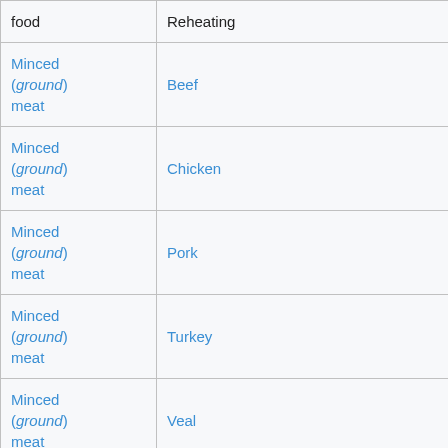| Food category | Type | Temperature |  |
| --- | --- | --- | --- |
| food | Reheating | 74 °C (165 °F) | N |
| Minced (ground) meat | Beef | 71 °C (160 °F) | N |
| Minced (ground) meat | Chicken | 74 °C (165 °F) | N |
| Minced (ground) meat | Pork | 71 °C (160 °F) | N |
| Minced (ground) meat | Turkey | 74 °C (165 °F) | N |
| Minced (ground) meat | Veal | 71 °C (160 °F) | N |